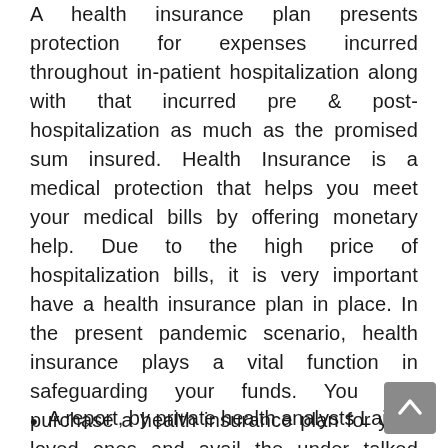A health insurance plan presents protection for expenses incurred throughout in-patient hospitalization along with that incurred pre & post-hospitalization as much as the promised sum insured. Health Insurance is a medical protection that helps you meet your medical bills by offering monetary help. Due to the high price of hospitalization bills, it is very important have a health insurance plan in place. In the present pandemic scenario, health insurance plays a vital function in safeguarding your funds. You can purchase a health insurance plan for your loved ones and avail the under talked about benefits & protection.
A report, by private health analysts Laing